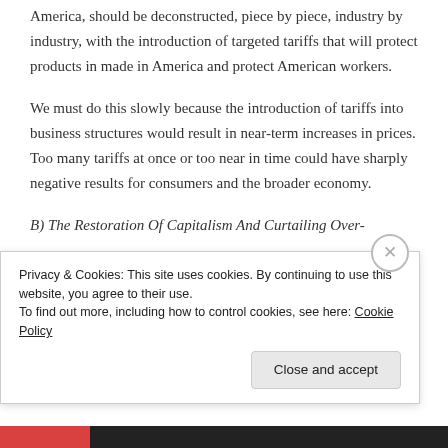America, should be deconstructed, piece by piece, industry by industry, with the introduction of targeted tariffs that will protect products in made in America and protect American workers.
We must do this slowly because the introduction of tariffs into business structures would result in near-term increases in prices. Too many tariffs at once or too near in time could have sharply negative results for consumers and the broader economy.
B) The Restoration Of Capitalism And Curtailing Over-
Privacy & Cookies: This site uses cookies. By continuing to use this website, you agree to their use.
To find out more, including how to control cookies, see here: Cookie Policy